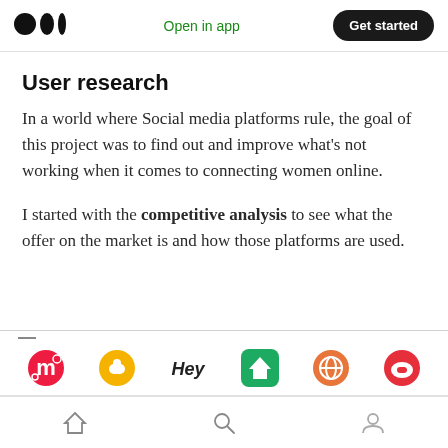Medium logo | Open in app | Get started
User research
In a world where Social media platforms rule, the goal of this project was to find out and improve what's not working when it comes to connecting women online.
I started with the competitive analysis to see what the offer on the market is and how those platforms are used.
[Figure (other): Partial view of a comparison table showing logos of social media platforms: Meetup (red M), a yellow circle icon, 'Hey' text logo, a green house icon, a globe/orange icon, and a red chat icon.]
Home | Search | Profile navigation icons